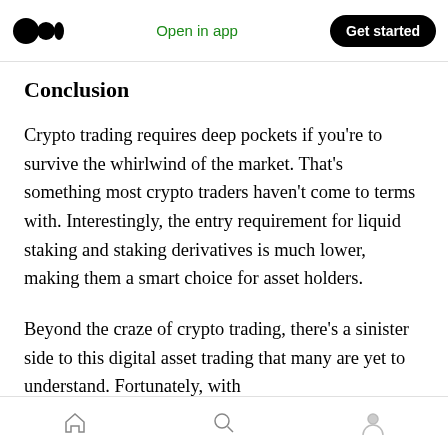Open in app  Get started
Conclusion
Crypto trading requires deep pockets if you're to survive the whirlwind of the market. That's something most crypto traders haven't come to terms with. Interestingly, the entry requirement for liquid staking and staking derivatives is much lower, making them a smart choice for asset holders.
Beyond the craze of crypto trading, there's a sinister side to this digital asset trading that many are yet to understand. Fortunately, with
Home  Search  Profile